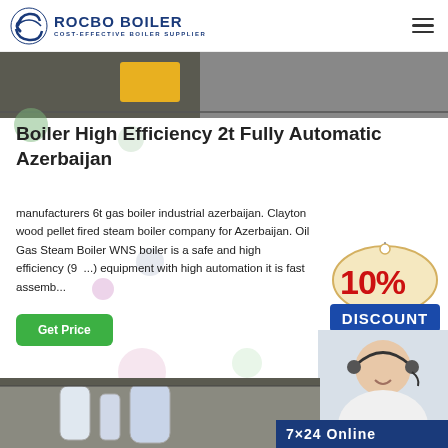ROCBO BOILER — COST-EFFECTIVE BOILER SUPPLIER
[Figure (photo): Partial industrial/workshop photo at top of page]
Boiler High Efficiency 2t Fully Automatic Azerbaijan
manufacturers 6t gas boiler industrial azerbaijan. Clayton wood pellet fired steam boiler company for Azerbaijan. Oil Gas Steam Boiler WNS boiler is a safe and high efficiency (98...) equipment with high automation it is fast assemb...
[Figure (infographic): 10% DISCOUNT badge in red and blue]
[Figure (photo): Customer service representative wearing headset, smiling]
[Figure (photo): Industrial boiler equipment in a factory setting]
Get Price
7×24 Online